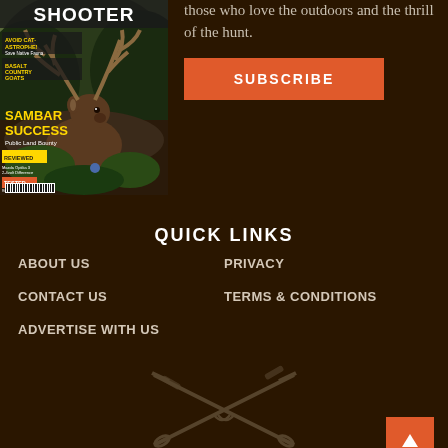[Figure (photo): Magazine cover of Shooter magazine showing a sambar deer stag with large antlers, with text including SAMBAR SUCCESS, Public Land Bounty, AVOID CATASTROPHE, BASALT COUNTRY GOATS, REVIEWED, TESTED, and a barcode]
those who love the outdoors and the thrill of the hunt.
SUBSCRIBE
QUICK LINKS
ABOUT US
PRIVACY
CONTACT US
TERMS & CONDITIONS
ADVERTISE WITH US
[Figure (illustration): Crossed rifles / guns logo icon in grey/tan color]